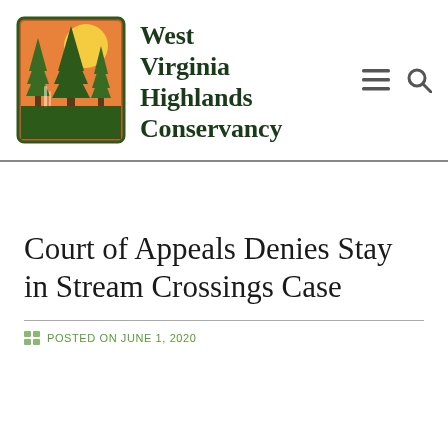[Figure (logo): West Virginia Highlands Conservancy logo: rectangular badge with orange/green background, pine trees, yellow sun, and waterfall illustration]
West Virginia Highlands Conservancy
Court of Appeals Denies Stay in Stream Crossings Case
POSTED ON JUNE 1, 2020